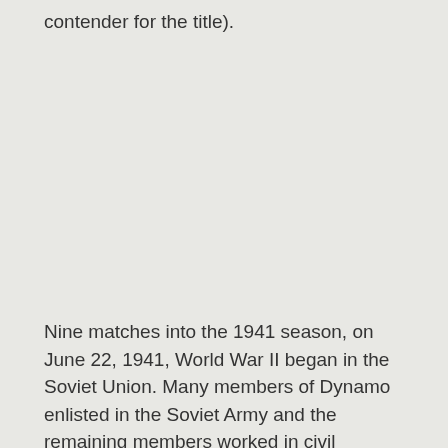contender for the title).
Nine matches into the 1941 season, on June 22, 1941, World War II began in the Soviet Union. Many members of Dynamo enlisted in the Soviet Army and the remaining members worked in civil defense back home in Kiev. It was to no avail, as the German forces